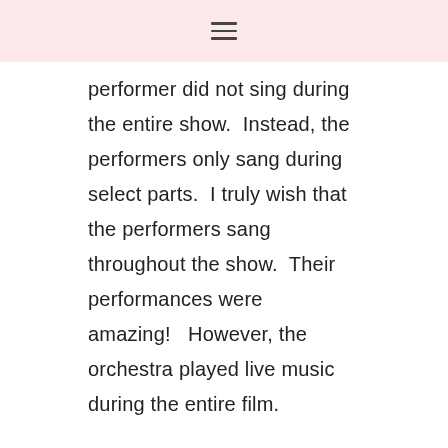≡
performer did not sing during the entire show.  Instead, the performers only sang during select parts.  I truly wish that the performers sang throughout the show.  Their performances were amazing!   However, the orchestra played live music during the entire film.
The cast of well-known singers included:
Zoe Deschanel as Belle
Taye Diggs as Gaston (Wow! Who